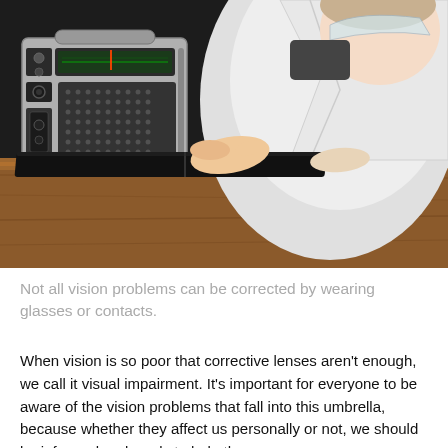[Figure (photo): A person wearing a white jacket and visor bends over a dark table, pointing at a dark book. A vintage boombox/radio sits to the left on the table. Dark background.]
Not all vision problems can be corrected by wearing glasses or contacts.
When vision is so poor that corrective lenses aren't enough, we call it visual impairment. It's important for everyone to be aware of the vision problems that fall into this umbrella, because whether they affect us personally or not, we should be informed and ready to help those